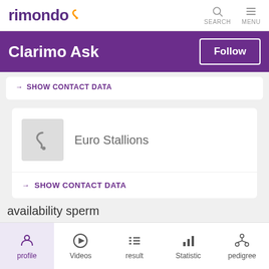rimondo SEARCH MENU
Clarimo Ask
→ SHOW CONTACT DATA
Euro Stallions
→ SHOW CONTACT DATA
availability sperm
profile Videos result Statistic pedigree